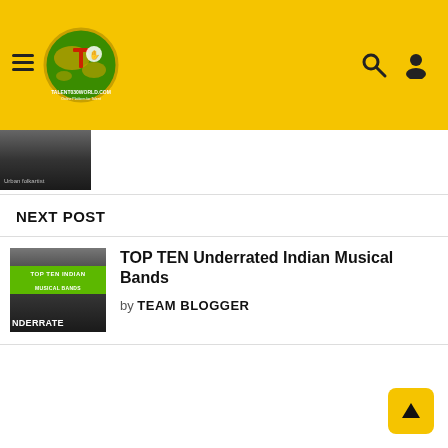[Figure (logo): Talent030World.com website header with yellow background, hamburger menu icon, circular green globe logo with red T and white hand, and search/user icons on the right]
[Figure (photo): Small thumbnail image of a previous post, dark toned image, label 'Urban folkartist']
NEXT POST
[Figure (photo): Thumbnail for Top Ten Indian Musical Bands post — dark concert crowd background with green banner overlays reading TOP TEN INDIAN MUSICAL BANDS and UNDERRATED]
TOP TEN Underrated Indian Musical Bands
by TEAM BLOGGER